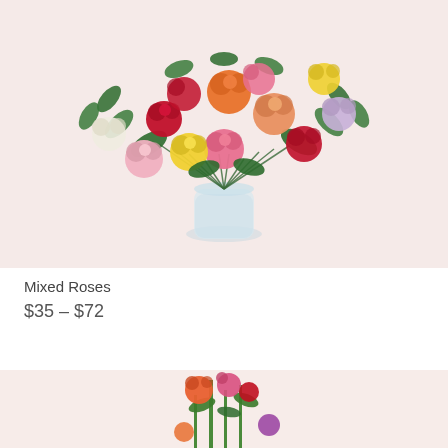[Figure (photo): A bouquet of mixed colorful roses including red, pink, orange, yellow, lavender, and white roses arranged in a clear glass vase against a light pink background.]
Mixed Roses
$35 – $72
[Figure (photo): Partial view of a second floral arrangement at the bottom of the page, showing orange and pink flowers with green stems against a light pink background.]